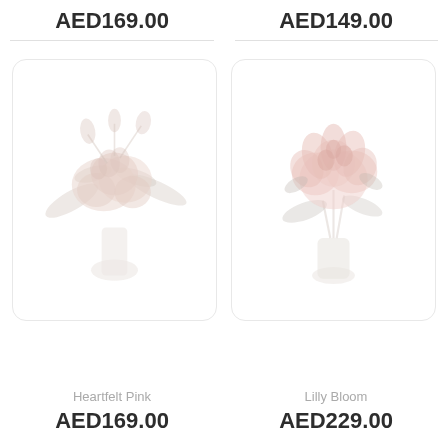AED169.00
AED149.00
[Figure (illustration): Faded watercolor illustration of a pink and beige dried flower bouquet in a vase on a white card with rounded corners]
[Figure (illustration): Faded watercolor illustration of a pink lily flower bouquet in a clear vase on a white card with rounded corners]
Heartfelt Pink
Lilly Bloom
AED169.00
AED229.00